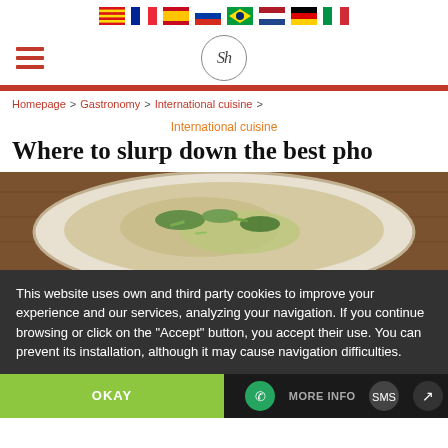Sh (logo) with flag icons: Catalan, French, Spanish, Russian, Brazilian, Dutch, German, Italian
Homepage > Gastronomy > International cuisine >
International cuisine
Where to slurp down the best pho
[Figure (photo): Bowl of pho soup with noodles, broth, and green herbs/scallions viewed from above on a wooden table]
This website uses own and third party cookies to improve your experience and our services, analyzing your navigation. If you continue browsing or click on the "Accept" button, you accept their use. You can prevent its installation, although it may cause navigation difficulties.
OKAY | MORE INFO